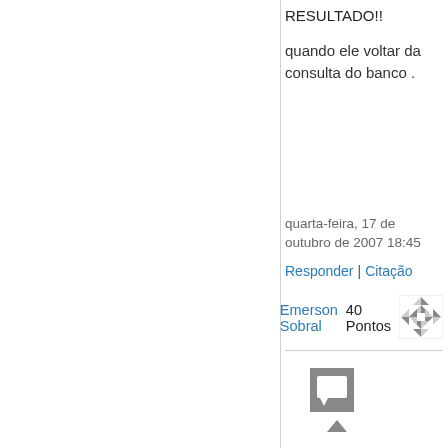RESULTADO!!
quando ele voltar da consulta do banco .
quarta-feira, 17 de outubro de 2007 18:45
Responder | Citação
Emerson Sobral   40 Pontos
[Figure (illustration): User avatar icon - decorative pattern]
[Figure (illustration): Comment/chat icon in gray square]
[Figure (illustration): Up arrow in gray]